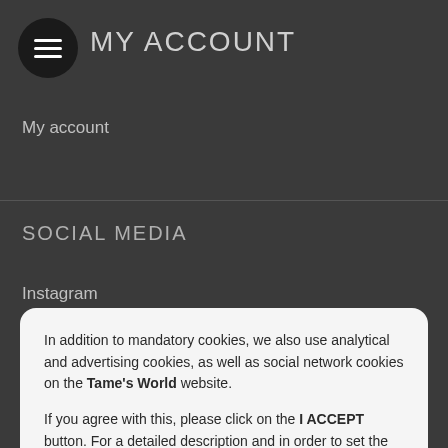MY ACCOUNT
My account
SOCIAL MEDIA
Instagram
Facebook Shop
In addition to mandatory cookies, we also use analytical and advertising cookies, as well as social network cookies on the Tame's World website.
If you agree with this, please click on the I ACCEPT button. For a detailed description and in order to set the use of individual cookies, click on the COOKIE SETTINGS link.
I ACCEPT
Cookie Settings